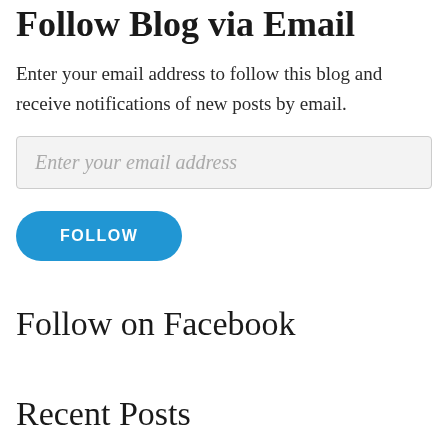Follow Blog via Email
Enter your email address to follow this blog and receive notifications of new posts by email.
[Figure (other): Email address input field with placeholder text 'Enter your email address']
[Figure (other): Blue rounded FOLLOW button]
Follow on Facebook
Recent Posts